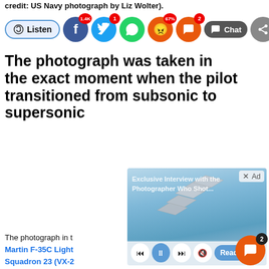credit: US Navy photograph by Liz Wolter).
[Figure (screenshot): Social sharing bar with Listen, Facebook (1.4K), Twitter (1), WhatsApp, Angry reaction (67%), comment (2), Chat, and share buttons]
The photograph was taken in the exact moment when the pilot transitioned from subsonic to supersonic
[Figure (screenshot): Ad overlay showing jets flying in formation with 'Exclusive Interview with the Photographer Who Shot...' text, media controls, and Read More button]
The photograph in the Martin F-35C Light Squadron 23 (VX-2 Released by the Na image was taken as 9X Sidewinder AAMs (Air-to-Air Missiles), flies transonic: indeed, what makes the shot particularly interesting and schlieren shock waves that flight test photographers as the JSF transitioned from sub-sonic to supersonic.